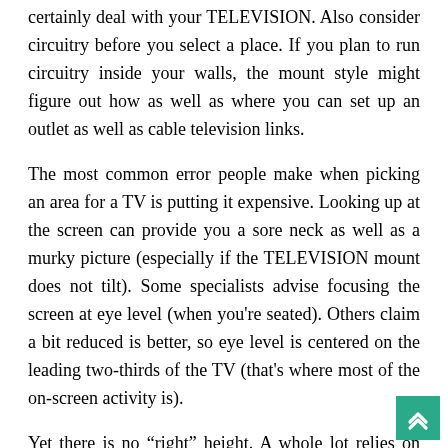certainly deal with your TELEVISION. Also consider circuitry before you select a place. If you plan to run circuitry inside your walls, the mount style might figure out how as well as where you can set up an outlet as well as cable television links.
The most common error people make when picking an area for a TV is putting it expensive. Looking up at the screen can provide you a sore neck as well as a murky picture (especially if the TELEVISION mount does not tilt). Some specialists advise focusing the screen at eye level (when you're seated). Others claim a bit reduced is better, so eye level is centered on the leading two-thirds of the TV (that's where most of the on-screen activity is).
Yet there is no “right” height. A whole lot relies on the size of the TELEVISION and also the room. A big TV in a huge space can be placed greater on the wall surf...